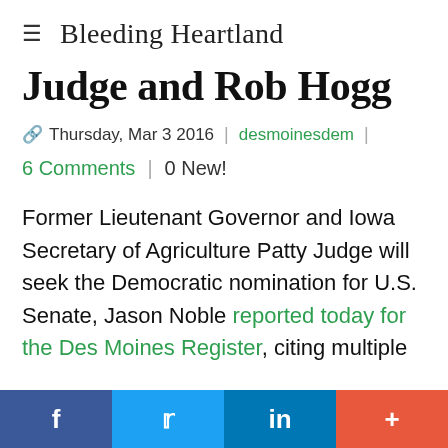Bleeding Heartland
Judge and Rob Hogg
Thursday, Mar 3 2016 | desmoinesdem | 6 Comments | 0 New!
Former Lieutenant Governor and Iowa Secretary of Agriculture Patty Judge will seek the Democratic nomination for U.S. Senate, Jason Noble reported today for the Des Moines Register, citing multiple